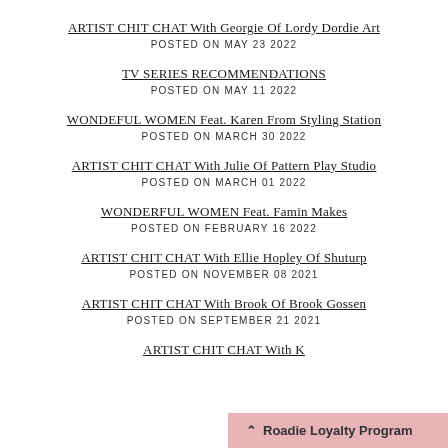ARTIST CHIT CHAT With Georgie Of Lordy Dordie Art
POSTED ON MAY 23 2022
TV SERIES RECOMMENDATIONS
POSTED ON MAY 11 2022
WONDEFUL WOMEN Feat. Karen From Styling Station
POSTED ON MARCH 30 2022
ARTIST CHIT CHAT With Julie Of Pattern Play Studio
POSTED ON MARCH 01 2022
WONDERFUL WOMEN Feat. Famin Makes
POSTED ON FEBRUARY 16 2022
ARTIST CHIT CHAT With Ellie Hopley Of Shuturp
POSTED ON NOVEMBER 08 2021
ARTIST CHIT CHAT With Brook Of Brook Gossen
POSTED ON SEPTEMBER 21 2021
ARTIST CHIT CHAT With K…
Roadie Loyalty Program